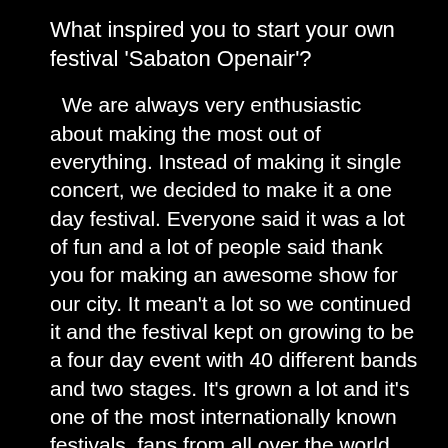What inspired you to start your own festival 'Sabaton Openair'?
We are always very enthusiastic about making the most out of everything. Instead of making it single concert, we decided to make it a one day festival. Everyone said it was a lot of fun and a lot of people said thank you for making an awesome show for our city. It mean't a lot so we continued it and the festival kept on growing to be a four day event with 40 different bands and two stages. It's grown a lot and it's one of the most internationally known festivals, fans from all over the world come and help us build and tear down the festival every